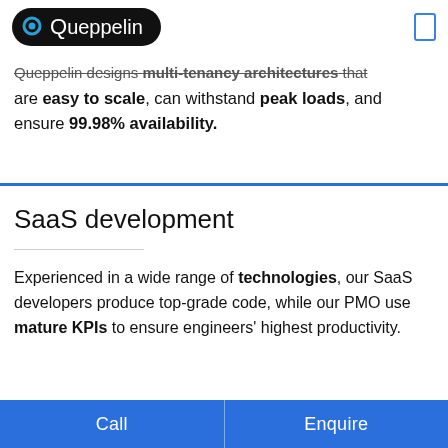Queppelin
Queppelin designs multi-tenancy architectures that are easy to scale, can withstand peak loads, and ensure 99.98% availability.
SaaS development
Experienced in a wide range of technologies, our SaaS developers produce top-grade code, while our PMO use mature KPIs to ensure engineers' highest productivity.
Call   Enquire